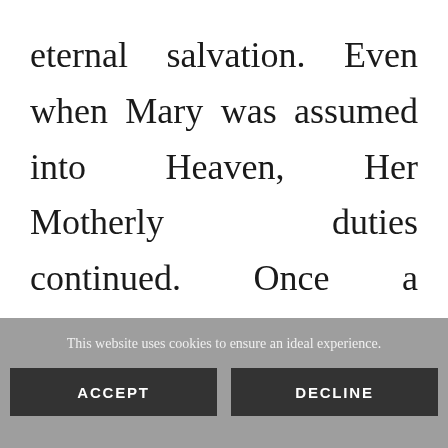eternal salvation. Even when Mary was assumed into Heaven, Her Motherly duties continued. Once a Mother, always a Mother.

“Take your anxieties to Mary. The
This website uses cookies to ensure an ideal experience.
ACCEPT
DECLINE